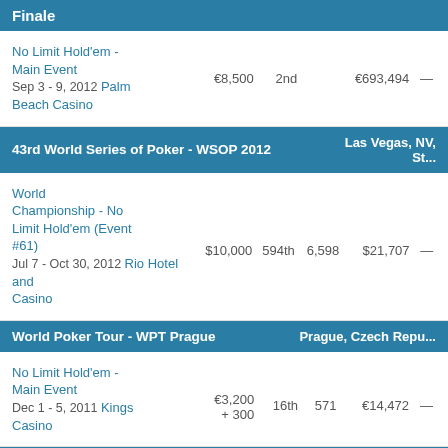Finale
| Event | Buy-in | Place | Entries | Prize |  |
| --- | --- | --- | --- | --- | --- |
| No Limit Hold'em - Main Event
Sep 3 - 9, 2012 Palm Beach Casino | €8,500 | 2nd |  | €693,494 | — |
43rd World Series of Poker - WSOP 2012 | Las Vegas, NV, St...
| Event | Buy-in | Place | Entries | Prize |  |
| --- | --- | --- | --- | --- | --- |
| World Championship - No Limit Hold'em (Event #61)
Jul 7 - Oct 30, 2012 Rio Hotel and Casino | $10,000 | 594th | 6,598 | $21,707 | — |
World Poker Tour - WPT Prague | Prague, Czech Repu...
| Event | Buy-in | Place | Entries | Prize |  |
| --- | --- | --- | --- | --- | --- |
| No Limit Hold'em - Main Event
Dec 1 - 5, 2011 Kings Casino | €3,200 + 300 | 16th | 571 | €14,472 | — |
European Poker Tour - EPT Sanremo | Sanremo,...
No Limit Hold'em -